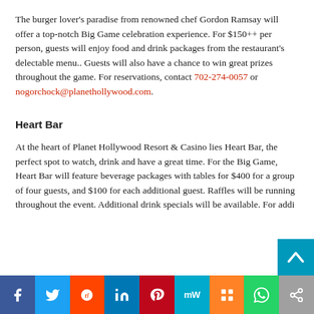The burger lover's paradise from renowned chef Gordon Ramsay will offer a top-notch Big Game celebration experience. For $150++ per person, guests will enjoy food and drink packages from the restaurant's delectable menu.. Guests will also have a chance to win great prizes throughout the game. For reservations, contact 702-274-0057 or nogorchock@planethollywood.com.
Heart Bar
At the heart of Planet Hollywood Resort & Casino lies Heart Bar, the perfect spot to watch, drink and have a great time. For the Big Game, Heart Bar will feature beverage packages with tables for $400 for a group of four guests, and $100 for each additional guest. Raffles will be running throughout the event. Additional drink specials will be available. For addi